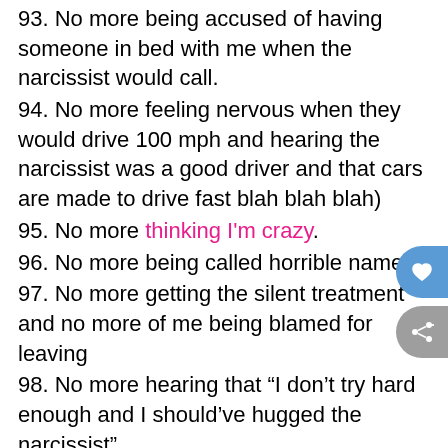93. No more being accused of having someone in bed with me when the narcissist would call.
94. No more feeling nervous when they would drive 100 mph and hearing the narcissist was a good driver and that cars are made to drive fast blah blah blah)
95. No more thinking I'm crazy.
96. No more being called horrible names.
97. No more getting the silent treatment and no more of me being blamed for leaving
98. No more hearing that “I don’t try hard enough and I should’ve hugged the narcissist”
99. No more crying and not being able to wear makeup.
100. No more fearing to shave my legs because that meant I “went out” the night